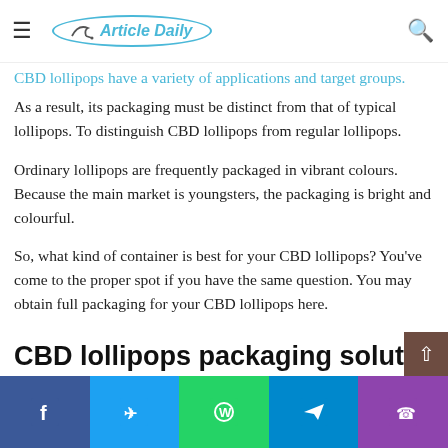Article Daily — navigation bar with hamburger menu and search icon
often associated with children, but these Delta 8 Suckers are adult.
CBD lollipops have a variety of applications and target groups. As a result, its packaging must be distinct from that of typical lollipops. To distinguish CBD lollipops from regular lollipops.
Ordinary lollipops are frequently packaged in vibrant colours. Because the main market is youngsters, the packaging is bright and colourful.
So, what kind of container is best for your CBD lollipops? You've come to the proper spot if you have the same question. You may obtain full packaging for your CBD lollipops here.
CBD lollipops packaging solution
Facebook | Twitter | WhatsApp | Telegram | Phone